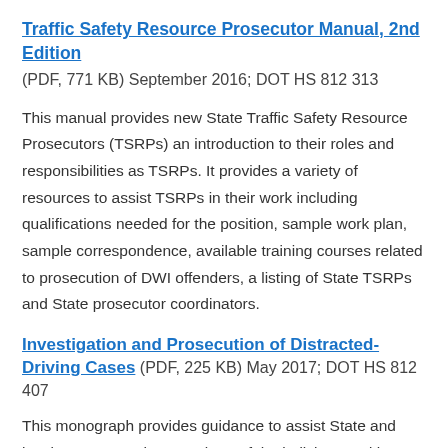Traffic Safety Resource Prosecutor Manual, 2nd Edition
(PDF, 771 KB) September 2016; DOT HS 812 313
This manual provides new State Traffic Safety Resource Prosecutors (TSRPs) an introduction to their roles and responsibilities as TSRPs. It provides a variety of resources to assist TSRPs in their work including qualifications needed for the position, sample work plan, sample correspondence, available training courses related to prosecution of DWI offenders, a listing of State TSRPs and State prosecutor coordinators.
Investigation and Prosecution of Distracted-Driving Cases
(PDF, 225 KB) May 2017; DOT HS 812 407
This monograph provides guidance to assist State and local attorneys, other members of the judiciary, and law enforcement in prosecuting distracted-driving cases that